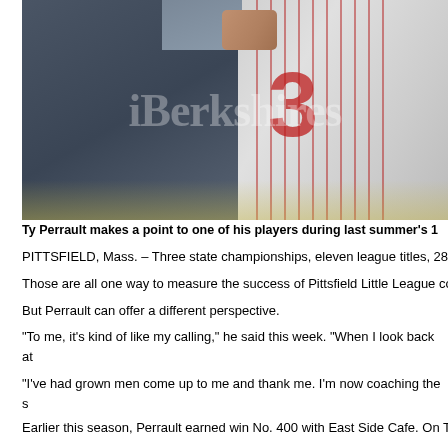[Figure (photo): A baseball coach in a dark grey shirt putting his arm around a player wearing a red and white pinstripe jersey with number 3, with a watermark reading 'iBerkshires' overlaid on the image]
Ty Perrault makes a point to one of his players during last summer's 1
PITTSFIELD, Mass. – Three state championships, eleven league titles, 28
Those are all one way to measure the success of Pittsfield Little League co
But Perrault can offer a different perspective.
“To me, it’s kind of like my calling,” he said this week. “When I look back at I’m most happy about.
“I’ve had grown men come up to me and thank me. I’m now coaching the s father will still call me coach.”
Earlier this season, Perrault earned win No. 400 with East Side Cafe. On T will play Game 1 of the league championship against Berkshire Bank. A wir necessary” game of the double elimination tournament, a winner-take-all ga